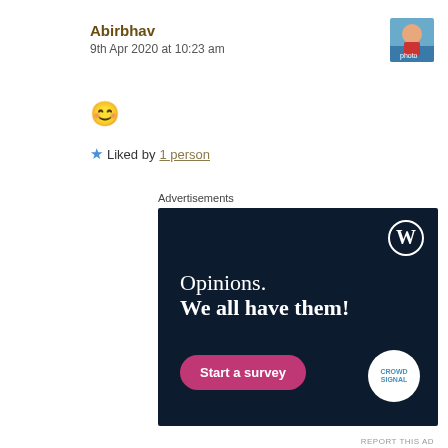Abirbhav
9th Apr 2020 at 10:23 am
[Figure (photo): User avatar photo of Abirbhav]
😊
★ Liked by 1 person
Advertisements
[Figure (infographic): WordPress advertisement banner with dark navy background showing 'Opinions. We all have them!' text, a WordPress logo in top right, a pink 'Start a survey' button, and a Crowdsignal logo circle in bottom right.]